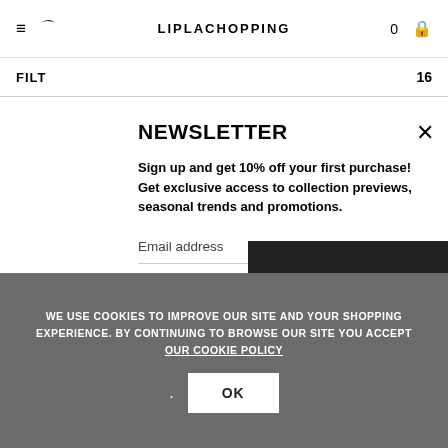≡ ⌒   LIPLACHOPPING   0  🔒
FILT   16
NEWSLETTER
Sign up and get 10% off your first purchase! Get exclusive access to collection previews, seasonal trends and promotions.
Email address
Select a country...
By signing up you are agreeing to accept Privacy Policy
WE USE COOKIES TO IMPROVE OUR SITE AND YOUR SHOPPING EXPERIENCE. BY CONTINUING TO BROWSE OUR SITE YOU ACCEPT OUR COOKIE POLICY
OK